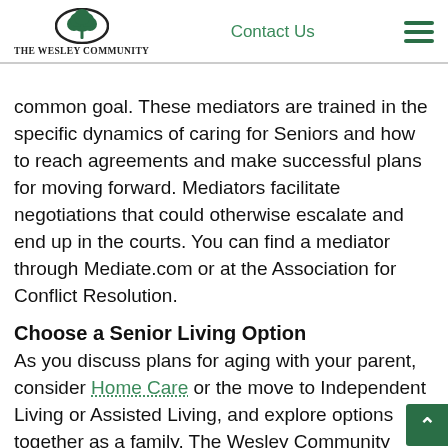THE WESLEY COMMUNITY | Contact Us
common goal. These mediators are trained in the specific dynamics of caring for Seniors and how to reach agreements and make successful plans for moving forward. Mediators facilitate negotiations that could otherwise escalate and end up in the courts. You can find a mediator through Mediate.com or at the Association for Conflict Resolution.
Choose a Senior Living Option
As you discuss plans for aging with your parent, consider Home Care or the move to Independent Living or Assisted Living, and explore options together as a family. The Wesley Community offers scheduled, private tours with Senior Care Specialists. The caring